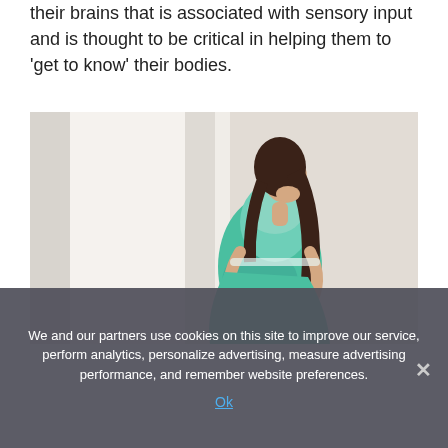their brains that is associated with sensory input and is thought to be critical in helping them to 'get to know' their bodies.
[Figure (photo): A pregnant woman in a teal/mint dress standing by a window, looking down at her baby bump with both hands cradling her belly.]
We and our partners use cookies on this site to improve our service, perform analytics, personalize advertising, measure advertising performance, and remember website preferences.
Ok